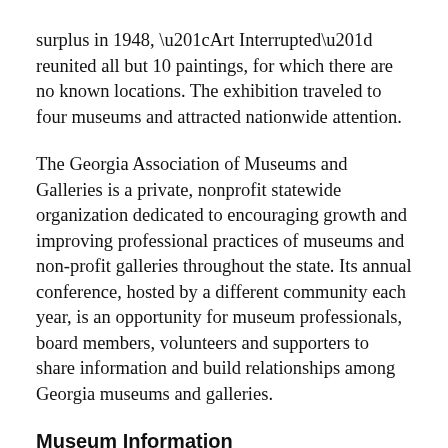surplus in 1948, “Art Interrupted” reunited all but 10 paintings, for which there are no known locations. The exhibition traveled to four museums and attracted nationwide attention.
The Georgia Association of Museums and Galleries is a private, nonprofit statewide organization dedicated to encouraging growth and improving professional practices of museums and non-profit galleries throughout the state. Its annual conference, hosted by a different community each year, is an opportunity for museum professionals, board members, volunteers and supporters to share information and build relationships among Georgia museums and galleries.
Museum Information
Partial support for the exhibition and programs at the Georgia Museum of Art is provided by the Georgia Council for the Arts through appropriations of the Georgia General Assembly. The council is a partner agency of the National